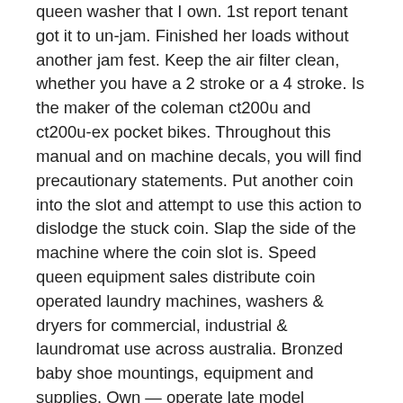queen washer that I own. 1st report tenant got it to un-jam. Finished her loads without another jam fest. Keep the air filter clean, whether you have a 2 stroke or a 4 stroke. Is the maker of the coleman ct200u and ct200u-ex pocket bikes. Throughout this manual and on machine decals, you will find precautionary statements. Put another coin into the slot and attempt to use this action to dislodge the stuck coin. Slap the side of the machine where the coin slot is. Speed queen equipment sales distribute coin operated laundry machines, washers &amp; dryers for commercial, industrial &amp; laundromat use across australia. Bronzed baby shoe mountings, equipment and supplies. Own — operate late model wurlitzer 24- record coin-operated phonographs. Cones get small cups, barrels get large flat washers. Smart choice repair center repairs both battery operated and tin windup toys
Aussie Play CasinoVip?Gambling Sites